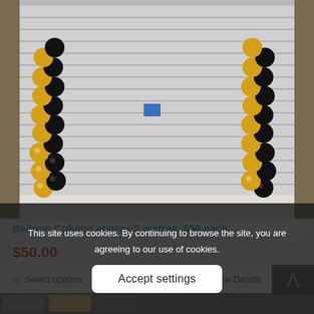[Figure (photo): Photo of two balloon columns (black and gold balloons in spiral pattern) flanking a roller-door shutter entrance at what appears to be a shop front.]
Balloon Column approx 2 metres. $50 each
$50.00
This site uses cookies. By continuing to browse the site, you are agreeing to our use of cookies.
Accept settings
Select options
View Details